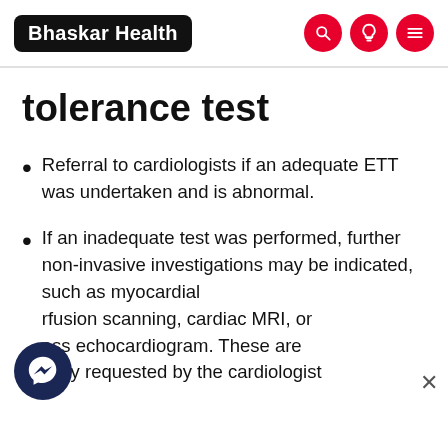Bhaskar Health
tolerance test
Referral to cardiologists if an adequate ETT was undertaken and is abnormal.
If an inadequate test was performed, further non-invasive investigations may be indicated, such as myocardial perfusion scanning, cardiac MRI, or stress echocardiogram. These are usually requested by the cardiologist.